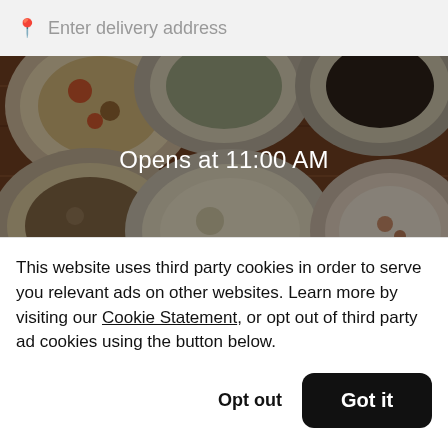Enter delivery address
[Figure (photo): Overhead photo of multiple pizza dishes on a wooden table, darkened with a semi-transparent overlay. Text reads 'Opens at 11:00 AM' centered over the image.]
Broadway Pizza (St. Anthony)
New
This website uses third party cookies in order to serve you relevant ads on other websites. Learn more by visiting our Cookie Statement, or opt out of third party ad cookies using the button below.
Opt out
Got it